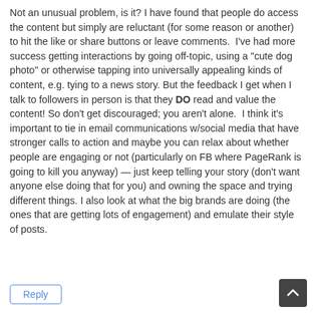Not an unusual problem, is it? I have found that people do access the content but simply are reluctant (for some reason or another) to hit the like or share buttons or leave comments.  I've had more success getting interactions by going off-topic, using a "cute dog photo" or otherwise tapping into universally appealing kinds of content, e.g. tying to a news story. But the feedback I get when I talk to followers in person is that they DO read and value the content! So don't get discouraged; you aren't alone.  I think it's important to tie in email communications w/social media that have stronger calls to action and maybe you can relax about whether people are engaging or not (particularly on FB where PageRank is going to kill you anyway) — just keep telling your story (don't want anyone else doing that for you) and owning the space and trying different things. I also look at what the big brands are doing (the ones that are getting lots of engagement) and emulate their style of posts.
Reply